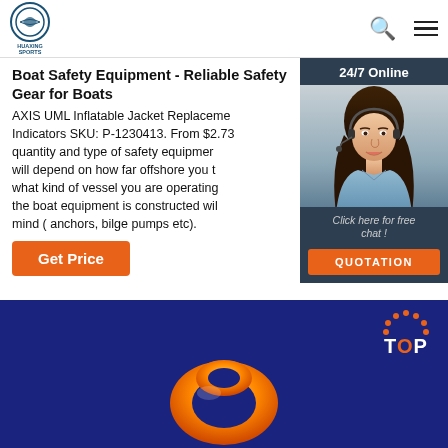HUAXING SPORTS [logo] | Search | Menu
Boat Safety Equipment - Reliable Safety Gear for Boats
AXIS UML Inflatable Jacket Replacement Indicators SKU: P-1230413. From $2.73 quantity and type of safety equipment will depend on how far offshore you travel, what kind of vessel you are operating, the boat equipment is constructed with mind ( anchors, bilge pumps etc).
Get Price
[Figure (photo): Customer service agent woman with headset, chat widget with '24/7 Online', 'Click here for free chat!', and 'QUOTATION' button on dark background]
[Figure (illustration): Blue banner at bottom with orange inflatable life jacket device and 'TOP' badge with orange dots]